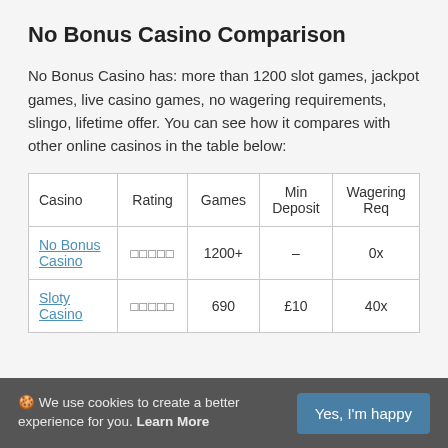No Bonus Casino Comparison
No Bonus Casino has: more than 1200 slot games, jackpot games, live casino games, no wagering requirements, slingo, lifetime offer. You can see how it compares with other online casinos in the table below:
| Casino | Rating | Games | Min Deposit | Wagering Req |
| --- | --- | --- | --- | --- |
| No Bonus Casino | □□□□□ | 1200+ | – | 0x |
| Sloty Casino | □□□□□ | 690 | £10 | 40x |
🍪 We use cookies to create a better experience for you. Learn More